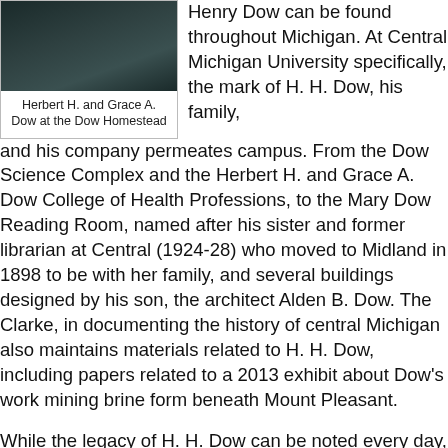[Figure (photo): Black and white photograph of Herbert H. and Grace A. Dow at the Dow Homestead, dark toned landscape/portrait image]
Herbert H. and Grace A. Dow at the Dow Homestead
Henry Dow can be found throughout Michigan. At Central Michigan University specifically, the mark of H. H. Dow, his family, and his company permeates campus. From the Dow Science Complex and the Herbert H. and Grace A. Dow College of Health Professions, to the Mary Dow Reading Room, named after his sister and former librarian at Central (1924-28) who moved to Midland in 1898 to be with her family, and several buildings designed by his son, the architect Alden B. Dow. The Clarke, in documenting the history of central Michigan also maintains materials related to H. H. Dow, including papers related to a 2013 exhibit about Dow's work mining brine form beneath Mount Pleasant.
While the legacy of H. H. Dow can be noted every day, the 150th anniversary of his birth gives us a chance to specifically reflect on the many contributions he made to more than just the chemical industry.
1. Nelb, Tawny Ryan. The Pines: 100 Years of the Herbert H. and Grace A. Dow Homestead, Orchards, and Gardens.